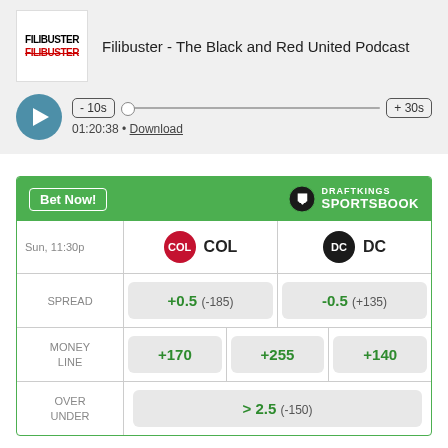[Figure (screenshot): Podcast player for Filibuster - The Black and Red United Podcast with play button, seek bar, -10s and +30s controls, showing 01:20:38 duration with Download link]
|  | COL | DC |
| --- | --- | --- |
| SPREAD | +0.5  (-185) | -0.5  (+135) |
| MONEY LINE | +170  |  +255 | +140 |
| OVER UNDER | > 2.5  (-150) |  |